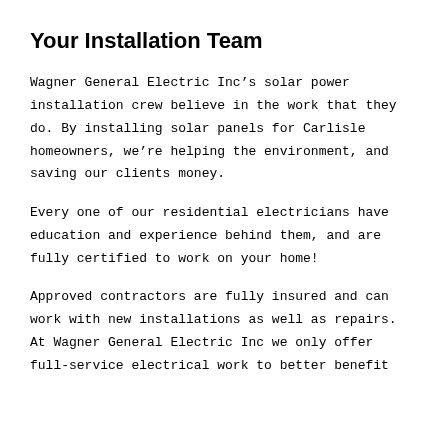Your Installation Team
Wagner General Electric Inc’s solar power installation crew believe in the work that they do. By installing solar panels for Carlisle homeowners, we’re helping the environment, and saving our clients money.
Every one of our residential electricians have education and experience behind them, and are fully certified to work on your home!
Approved contractors are fully insured and can work with new installations as well as repairs. At Wagner General Electric Inc we only offer full-service electrical work to better benefit